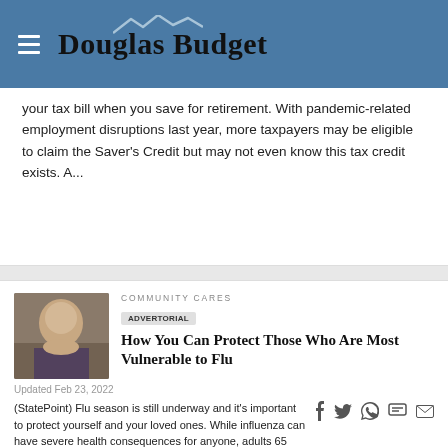Douglas Budget
your tax bill when you save for retirement. With pandemic-related employment disruptions last year, more taxpayers may be eligible to claim the Saver's Credit but may not even know this tax credit exists. A...
COMMUNITY CARES
ADVERTORIAL
How You Can Protect Those Who Are Most Vulnerable to Flu
Updated Feb 23, 2022
(StatePoint) Flu season is still underway and it's important to protect yourself and your loved ones. While influenza can have severe health consequences for anyone, adults 65 and older and those with